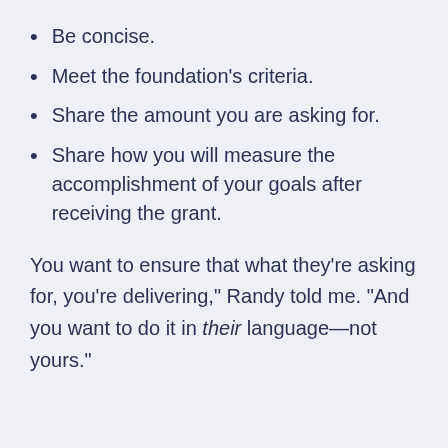Be concise.
Meet the foundation’s criteria.
Share the amount you are asking for.
Share how you will measure the accomplishment of your goals after receiving the grant.
You want to ensure that what they’re asking for, you’re delivering,” Randy told me. “And you want to do it in their language—not yours.”